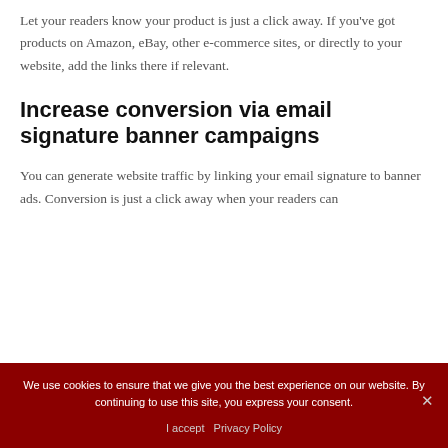Let your readers know your product is just a click away. If you've got products on Amazon, eBay, other e-commerce sites, or directly to your website, add the links there if relevant.
Increase conversion via email signature banner campaigns
You can generate website traffic by linking your email signature to banner ads. Conversion is just a click away when your readers can
We use cookies to ensure that we give you the best experience on our website. By continuing to use this site, you express your consent.
I accept   Privacy Policy